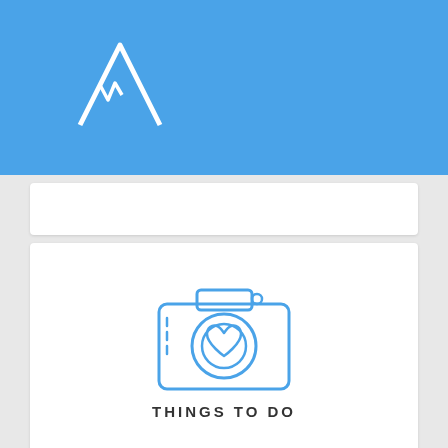[Figure (logo): White mountain/peak logo on blue background header bar]
[Figure (illustration): Blue outline camera icon with a heart symbol in the lens center]
THINGS TO DO
[Figure (illustration): Blue outline crossed fork and knife (dining) icon]